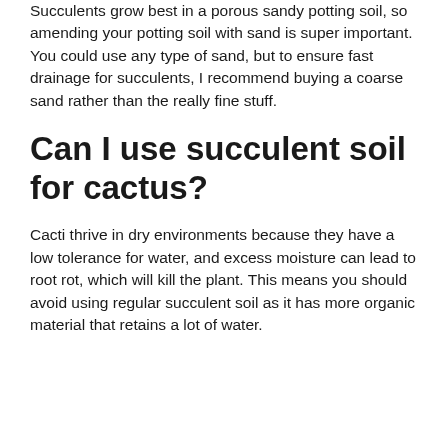Succulents grow best in a porous sandy potting soil, so amending your potting soil with sand is super important. You could use any type of sand, but to ensure fast drainage for succulents, I recommend buying a coarse sand rather than the really fine stuff.
Can I use succulent soil for cactus?
Cacti thrive in dry environments because they have a low tolerance for water, and excess moisture can lead to root rot, which will kill the plant. This means you should avoid using regular succulent soil as it has more organic material that retains a lot of water.